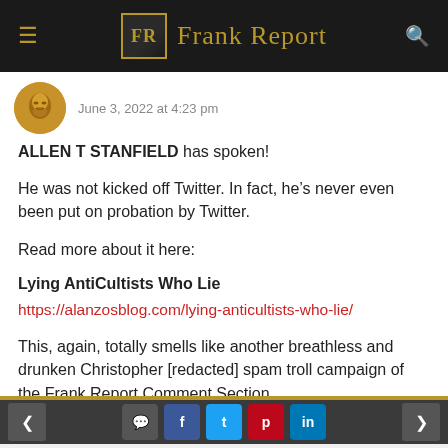Frank Report
June 3, 2022 at 4:23 pm
ALLEN T STANFIELD has spoken!
He was not kicked off Twitter. In fact, he's never even been put on probation by Twitter.
Read more about it here:
Lying AntiCultists Who Lie
https://alanzosblog.com/lying-anticultists-who-lie/
This, again, totally smells like another breathless and drunken Christopher [redacted] spam troll campaign of the Frank Report Comment Section.
< comment f t p in >